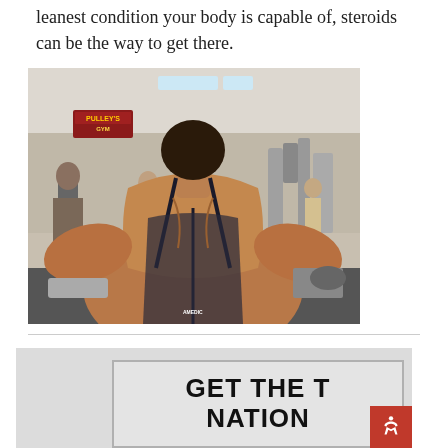leanest condition your body is capable of, steroids can be the way to get there.
[Figure (photo): A muscular man photographed from behind in a gym, showing extremely developed back and shoulder muscles, wearing a dark tank top. The gym interior with equipment is visible in the background.]
[Figure (infographic): Advertisement banner with gray background and bordered box containing bold text reading 'GET THE T NATION' in large black letters. A red accessibility icon button is visible in the bottom right corner.]